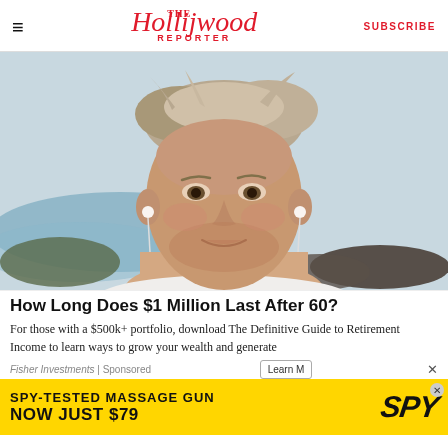The Hollywood Reporter | SUBSCRIBE
[Figure (photo): Close-up portrait of a middle-aged man with salt-and-pepper hair wearing earbuds, smiling outdoors near rocky coastline with water in background]
How Long Does $1 Million Last After 60?
For those with a $500k+ portfolio, download The Definitive Guide to Retirement Income to learn ways to grow your wealth and generate
Fisher Investments | Sponsored
[Figure (screenshot): SPY-TESTED MASSAGE GUN NOW JUST $79 advertisement banner in black and yellow with SPY logo]